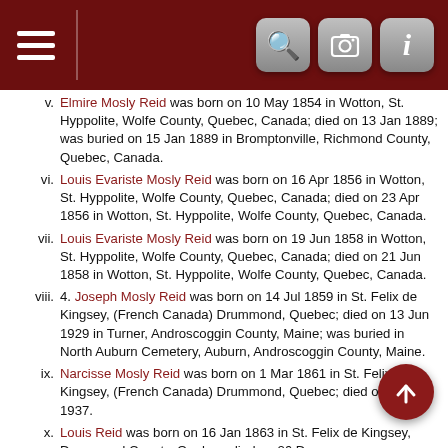Navigation bar with menu, search, camera, and info icons
v. Elmire Mosly Reid was born on 10 May 1854 in Wotton, St. Hyppolite, Wolfe County, Quebec, Canada; died on 13 Jan 1889; was buried on 15 Jan 1889 in Bromptonville, Richmond County, Quebec, Canada.
vi. Louis Evariste Mosly Reid was born on 16 Apr 1856 in Wotton, St. Hyppolite, Wolfe County, Quebec, Canada; died on 23 Apr 1856 in Wotton, St. Hyppolite, Wolfe County, Quebec, Canada.
vii. Louis Evariste Mosly Reid was born on 19 Jun 1858 in Wotton, St. Hyppolite, Wolfe County, Quebec, Canada; died on 21 Jun 1858 in Wotton, St. Hyppolite, Wolfe County, Quebec, Canada.
viii. 4. Joseph Mosly Reid was born on 14 Jul 1859 in St. Felix de Kingsey, (French Canada) Drummond, Quebec; died on 13 Jun 1929 in Turner, Androscoggin County, Maine; was buried in North Auburn Cemetery, Auburn, Androscoggin County, Maine.
ix. Narcisse Mosly Reid was born on 1 Mar 1861 in St. Felix de Kingsey, (French Canada) Drummond, Quebec; died on 23 Dec 1937.
x. Louis Reid was born on 16 Jan 1863 in St. Felix de Kingsey, Drummond County, Quebec; died on 26 Dec